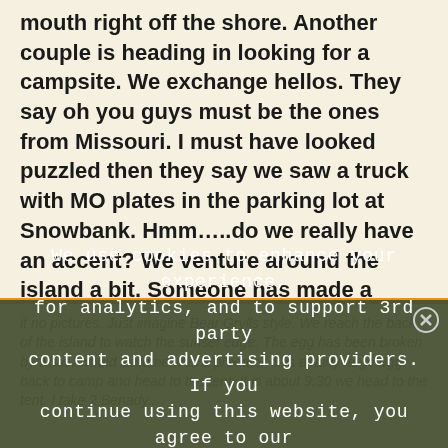mouth right off the shore. Another couple is heading in looking for a campsite. We exchange hellos. They say oh you guys must be the ones from Missouri. I must have looked puzzled then they say we saw a truck with MO plates in the parking lot at Snowbank. Hmm…..do we really have an accent? We venture around the island a bit. Someone has made a shelter out of pine trees. Yep breaking every rule their is. We both thought the other took pics of it so you guessed
it no pictures. Just imagine Bear Grylls style. We reach the back of the island to watch the sunset edge. The egg has been broken by what I would assume was a predator. It is a fairly large egg. back to camp and head to the tent. It is about 9:30 we head to the tent. I take 2 Benady...
We use cookies to enhance your experience, for analytics, and to support 3rd party content and advertising providers. If you continue using this website, you agree to our privacy and legal agreement. Ok